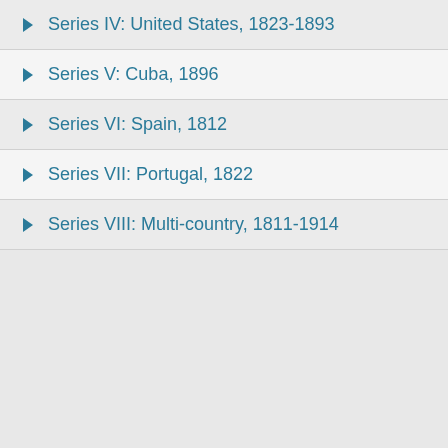Series IV: United States, 1823-1893
Series V: Cuba, 1896
Series VI: Spain, 1812
Series VII: Portugal, 1822
Series VIII: Multi-country, 1811-1914